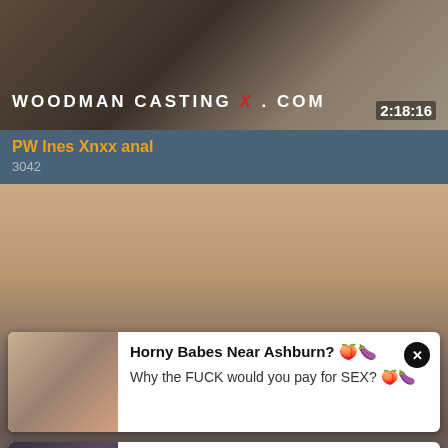[Figure (screenshot): Video thumbnail showing Woodman Casting X watermark with timestamp 2:18:16]
PW Ines Xnxx anal
3042
[Figure (screenshot): Adult content background image]
Horny Babes Near Ashburn? 🍑🍆 Why the FUCK would you pay for SEX? 🍑🍆
Emma (33) sent you a sex request🍑🍆Ashburn Tap and get her contact 📍Ashburn 📍